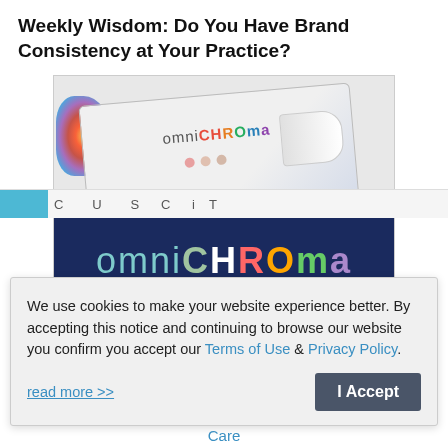Weekly Wisdom: Do You Have Brand Consistency at Your Practice?
[Figure (photo): OmniChroma dental product box and brand bar. White product box with colorful omniCHROMA logo and colored dots, with a large navy blue bar showing omniCHROMA in multicolored letters.]
We use cookies to make your website experience better. By accepting this notice and continuing to browse our website you confirm you accept our Terms of Use & Privacy Policy.
read more >>
I Accept
Care